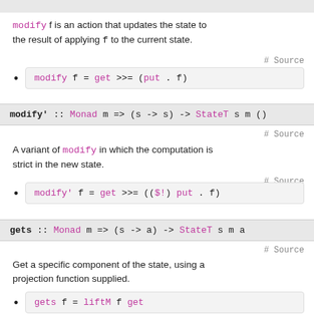modify f is an action that updates the state to the result of applying f to the current state.
modify f = get >>= (put . f)
modify' :: Monad m => (s -> s) -> StateT s m ()
A variant of modify in which the computation is strict in the new state.
modify' f = get >>= (($!) put . f)
gets :: Monad m => (s -> a) -> StateT s m a
Get a specific component of the state, using a projection function supplied.
gets f = liftM f get